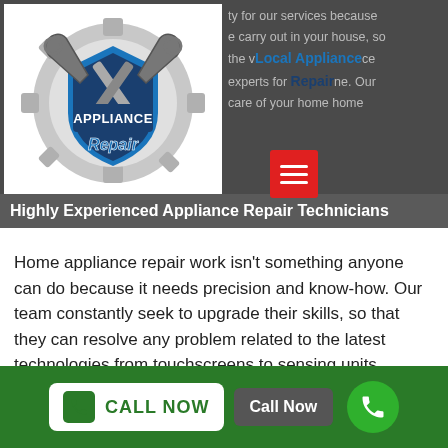[Figure (logo): Appliance Repair logo with wrenches and gear, text 'APPLIANCE Repair']
Local Appliance Repair
ty for our services because carry out in your house, so the v...ce experts for ...ne. Our care of your home home
Highly Experienced Appliance Repair Technicians
Home appliance repair work isn't something anyone can do because it needs precision and know-how. Our team constantly seek to upgrade their skills, so that they can resolve any problem related to the latest technologies from touchscreens to sensing units.
[Figure (photo): Partial view of a home appliance (refrigerator/washer) in silver/grey]
CALL NOW
Call Now